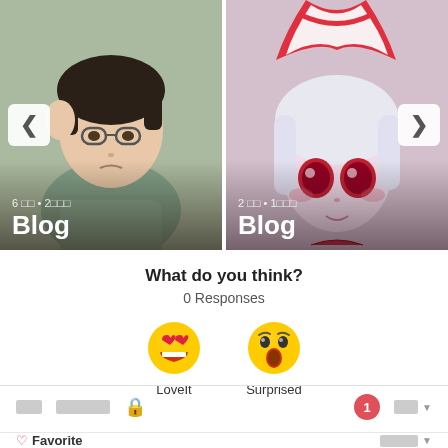[Figure (screenshot): Two anime character cards side by side in a carousel. Left card shows a boy with glasses and dark hair. Right card shows a girl with white hair and red eyes wearing a red-white hat. Each card shows 'Blog' label and metadata text. Navigation arrows visible on left (‹) and right (›) sides.]
6 □□ • 2□□□
Blog
2 □□ • 1□□□
Blog
What do you think?
0 Responses
[Figure (infographic): Two emoji reaction buttons: a heart-eyes love emoji labeled 'LoveIt' and a surprised/shocked emoji labeled 'Surprised']
LoveIt
Surprised
□□  □□□□□  🔒  [1]  □□ ▼
♡ Favorite  □□□□ ▼